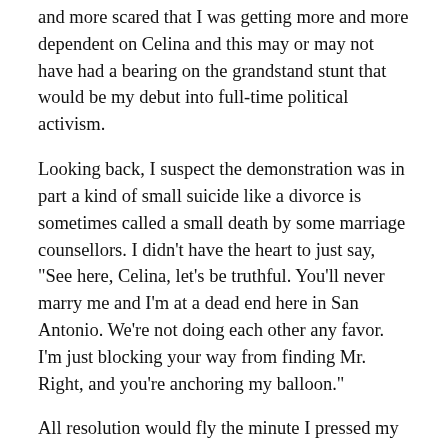and more scared that I was getting more and more dependent on Celina and this may or may not have had a bearing on the grandstand stunt that would be my debut into full-time political activism.
Looking back, I suspect the demonstration was in part a kind of small suicide like a divorce is sometimes called a small death by some marriage counsellors. I didn't have the heart to just say, "See here, Celina, let's be truthful. You'll never marry me and I'm at a dead end here in San Antonio. We're not doing each other any favor. I'm just blocking your way from finding Mr. Right, and you're anchoring my balloon."
All resolution would fly the minute I pressed my lips to her's, so I never even attempted an emancipation proclamation.
One night a group of us--I was the only gringo as usual-